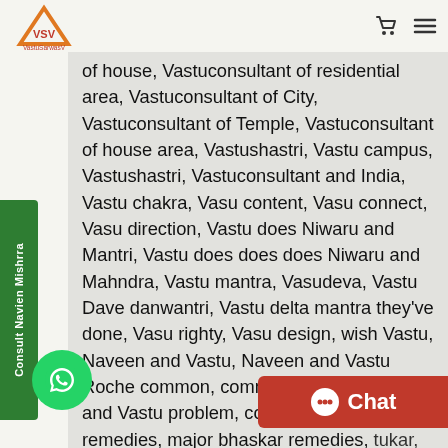VastuSarwasV logo and navigation
of house, Vastuconsultant of residential area, Vastuconsultant of City, Vastuconsultant of Temple, Vastuconsultant of house area, Vastushastri, Vastu campus, Vastushastri, Vastuconsultant and India, Vastu chakra, Vasu content, Vasu connect, Vasu direction, Vastu does Niwaru and Mantri, Vastu does does does Niwaru and Mahndra, Vastu mantra, Vasudeva, Vastu Dave danwantri, Vastu delta mantra they've done, Vasu righty, Vasu design, wish Vastu, Naveen and Vastu, Naveen and Vastu Roche common, common Vastu problem, and Vastu problem, common Vastu remedies, major bhaskar remedies, tukar, Vastu expert in Jaipur, Vastu expert askar spot and Jodhpur, Vastu as Expert and Nareda, VAS PSExpress Dhanna